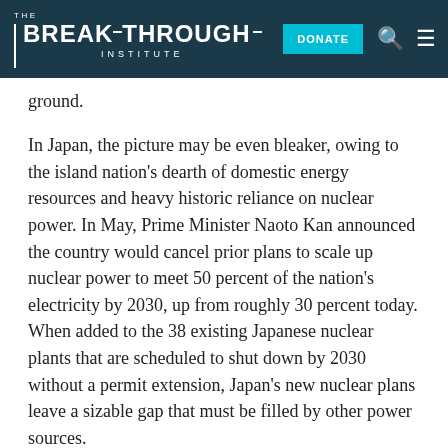THE BREAKTHROUGH INSTITUTE | DONATE
ground.
In Japan, the picture may be even bleaker, owing to the island nation's dearth of domestic energy resources and heavy historic reliance on nuclear power. In May, Prime Minister Naoto Kan announced the country would cancel prior plans to scale up nuclear power to meet 50 percent of the nation's electricity by 2030, up from roughly 30 percent today. When added to the 38 existing Japanese nuclear plants that are scheduled to shut down by 2030 without a permit extension, Japan's new nuclear plans leave a sizable gap that must be filled by other power sources.
Japan has few good options. According to our analysis